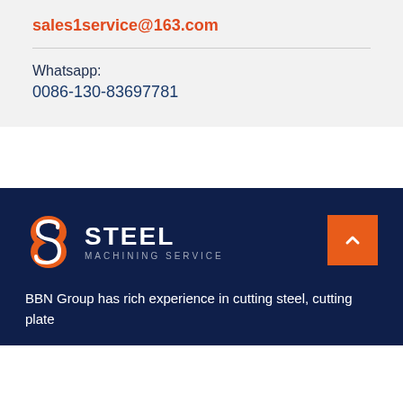sales1service@163.com
Whatsapp:
0086-130-83697781
[Figure (logo): S Steel Machining Service logo with orange S icon and white text on dark navy background]
BBN Group has rich experience in cutting steel, cutting plate